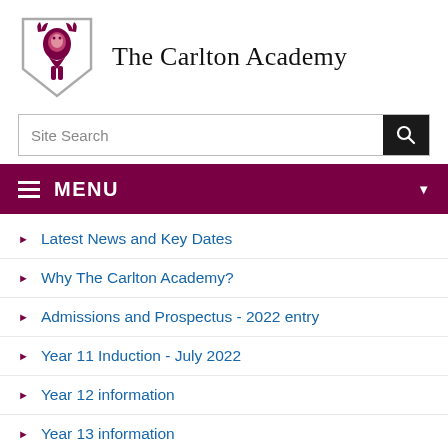[Figure (logo): The Carlton Academy shield crest logo with a stag/deer motif in dark red and white]
The Carlton Academy
Site Search
MENU
Latest News and Key Dates
Why The Carlton Academy?
Admissions and Prospectus - 2022 entry
Year 11 Induction - July 2022
Year 12 information
Year 13 information
REDucate